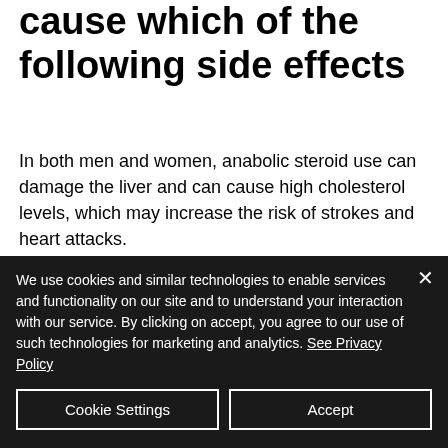cause which of the following side effects
In both men and women, anabolic steroid use can damage the liver and can cause high cholesterol levels, which may increase the risk of strokes and heart attacks.
And, according to new research in the Journal of the American Medical Association, women who take testosterone therapy for erectile dysfunction — a treatment approved by the FDA for men — also thick acid
We use cookies and similar technologies to enable services and functionality on our site and to understand your interaction with our service. By clicking on accept, you agree to our use of such technologies for marketing and analytics. See Privacy Policy
Cookie Settings
Accept